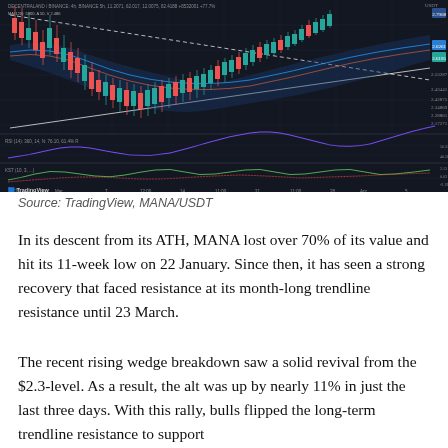[Figure (continuous-plot): TradingView candlestick chart of MANA/USDT showing price action with a rising wedge pattern, trendlines, RSI indicator, and KST indicator panels. Price ranges approximately $2.17–$2.79 USDT. Time range from late January to early April.]
Source: TradingView, MANA/USDT
In its descent from its ATH, MANA lost over 70% of its value and hit its 11-week low on 22 January. Since then, it has seen a strong recovery that faced resistance at its month-long trendline resistance until 23 March.
The recent rising wedge breakdown saw a solid revival from the $2.3-level. As a result, the alt was up by nearly 11% in just the last three days. With this rally, bulls flipped the long-term trendline resistance to support